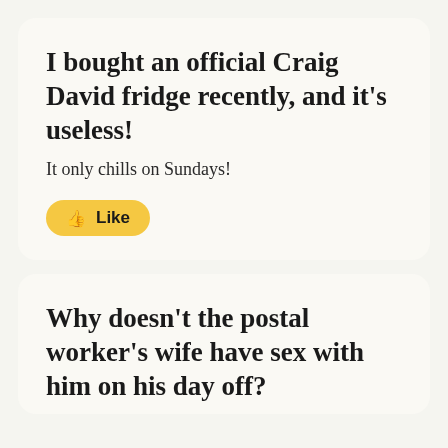I bought an official Craig David fridge recently, and it's useless!
It only chills on Sundays!
👍 Like
Why doesn't the postal worker's wife have sex with him on his day off?